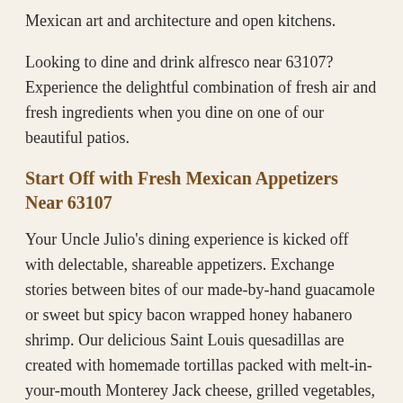Mexican art and architecture and open kitchens.
Looking to dine and drink alfresco near 63107? Experience the delightful combination of fresh air and fresh ingredients when you dine on one of our beautiful patios.
Start Off with Fresh Mexican Appetizers Near 63107
Your Uncle Julio's dining experience is kicked off with delectable, shareable appetizers. Exchange stories between bites of our made-by-hand guacamole or sweet but spicy bacon wrapped honey habanero shrimp. Our delicious Saint Louis quesadillas are created with homemade tortillas packed with melt-in-your-mouth Monterey Jack cheese, grilled vegetables, seasoned and sauteed pulled chicken, or mesquite grilled chicken or beef.
Uncle Julio's made-to-order guacamole allows your